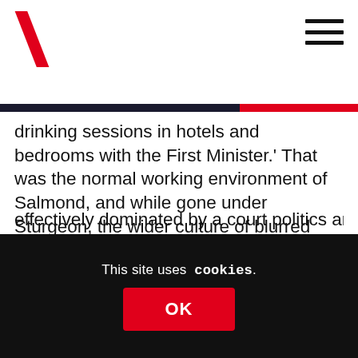[Figure (logo): Backslash / V-shaped red logo mark for a news website]
drinking sessions in hotels and bedrooms with the First Minister.' That was the normal working environment of Salmond, and while gone under Sturgeon, the wider culture of blurred party and state remains unchallenged.
One thread implicit in Break-Up is the damaging consequences of this saga for the SNP and the independence movement effectively dominated by a court politics and
This site uses cookies.
OK